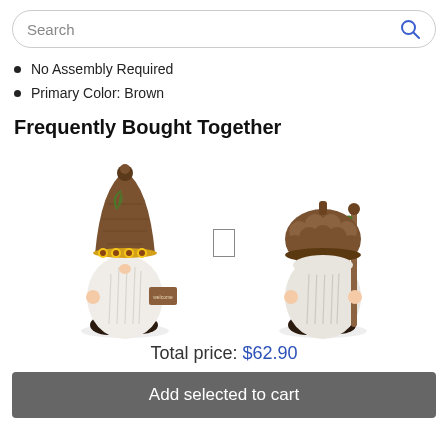Search
No Assembly Required
Primary Color: Brown
Frequently Bought Together
[Figure (photo): Two autumn-themed garden gnome figurines side by side. Left gnome wears a brown knit hat with sunflowers and holds a 'welcome' sign. Right gnome wears an acorn cap and holds a wooden staff.]
Total price: $62.90
Add selected to cart